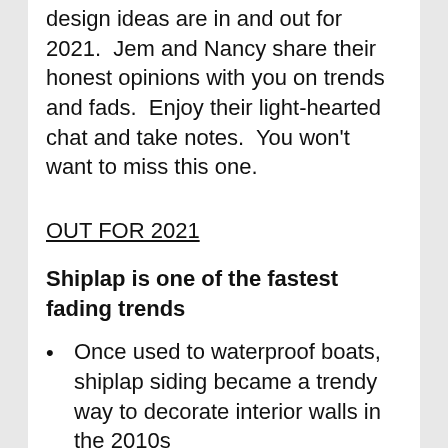design ideas are in and out for 2021.  Jem and Nancy share their honest opinions with you on trends and fads.  Enjoy their light-hearted chat and take notes.  You won't want to miss this one.
OUT FOR 2021
Shiplap is one of the fastest fading trends
Once used to waterproof boats, shiplap siding became a trendy way to decorate interior walls in the 2010s